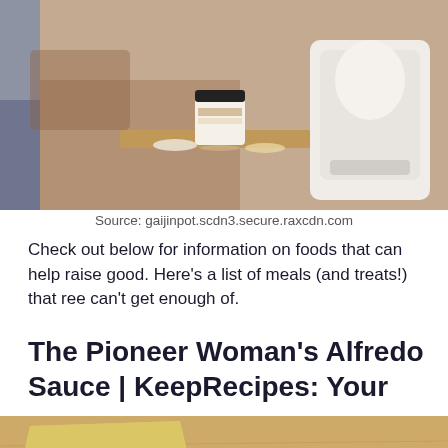[Figure (photo): Photo of a coffee cup and kitchen appliance on a wooden tray, with blurred background]
Source: gaijinpot.scdn3.secure.raxcdn.com
Check out below for information on foods that can help raise good. Here’s a list of meals (and treats!) that ree can’t get enough of.
The Pioneer Woman's Alfredo Sauce | KeepRecipes: Your
[Figure (photo): Photo of fettuccine pasta in a bowl with blue rim, parmesan cheese wedge and pasta in a colander on a wooden surface]